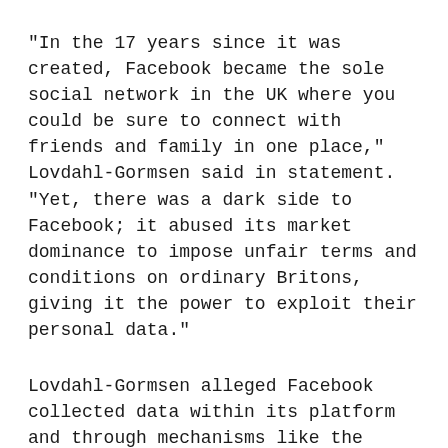"In the 17 years since it was created, Facebook became the sole social network in the UK where you could be sure to connect with friends and family in one place," Lovdahl-Gormsen said in statement. "Yet, there was a dark side to Facebook; it abused its market dominance to impose unfair terms and conditions on ordinary Britons, giving it the power to exploit their personal data."
Lovdahl-Gormsen alleged Facebook collected data within its platform and through mechanisms like the Facebook Pixel, allowing it to build an "all-seeing picture" of Internet usage and generate valuable deep data profiles of users.